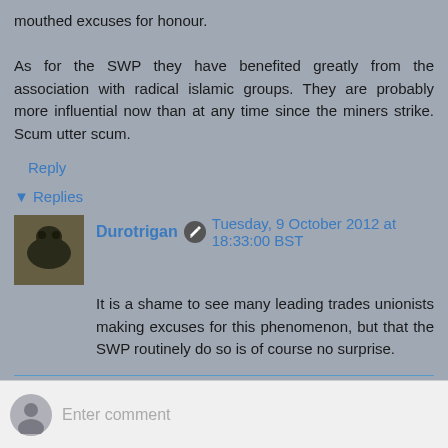mouthed excuses for honour. As for the SWP they have benefited greatly from the association with radical islamic groups. They are probably more influential now than at any time since the miners strike. Scum utter scum.
Reply
▾ Replies
Durotrigan  Tuesday, 9 October 2012 at 18:33:00 BST
It is a shame to see many leading trades unionists making excuses for this phenomenon, but that the SWP routinely do so is of course no surprise.
Reply
Enter comment